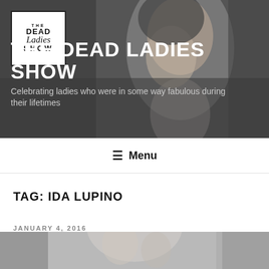[Figure (photo): Header banner with black and white portrait photo of a woman and site logo overlay]
THE DEAD LADIES SHOW
Celebrating ladies who were in some way fabulous during their lifetimes
≡ Menu
TAG: IDA LUPINO
JANUARY 4, 2016
Dead Ladies Show #5
[Figure (photo): Black and white photo at the bottom of a woman, partially visible]